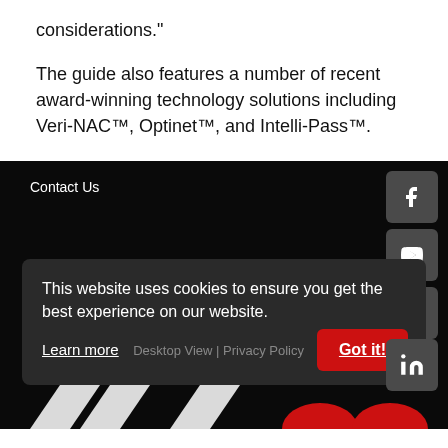considerations."
The guide also features a number of recent award-winning technology solutions including Veri-NAC™, Optinet™, and Intelli-Pass™.
Contact Us
[Figure (screenshot): Social media icons for Facebook, YouTube, Twitter, and LinkedIn on dark background footer]
This website uses cookies to ensure you get the best experience on our website. Learn more
Desktop View | Privacy Policy
Got it!